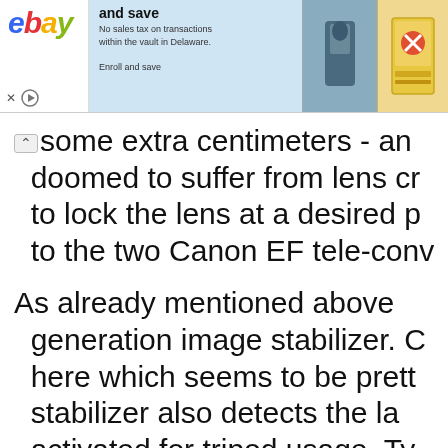[Figure (screenshot): eBay advertisement banner with blue background, eBay logo on left, text 'and save / No sales tax on transactions within the vault in Delaware. / Enroll and save', and two product images on the right (a figurine and a trading card). Close and play controls at bottom left.]
some extra centimeters - an doomed to suffer from lens cr to lock the lens at a desired p to the two Canon EF tele-conv
As already mentioned above generation image stabilizer. C here which seems to be prett stabilizer also detects the la activated for tripod usage. Ty